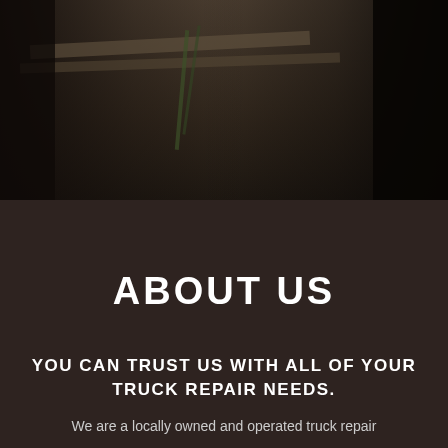[Figure (photo): Dark workshop/garage photo showing ceiling structural beams and what appears to be a person or equipment silhouetted on the left, with dark right side, overhead industrial setting]
ABOUT US
YOU CAN TRUST US WITH ALL OF YOUR TRUCK REPAIR NEEDS.
We are a locally owned and operated truck repair